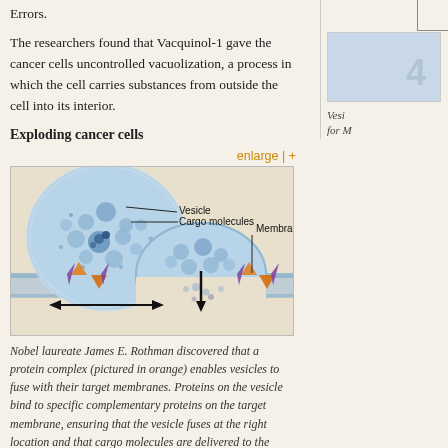Errors.
The researchers found that Vacquinol-1 gave the cancer cells uncontrolled vacuolization, a process in which the cell carries substances from outside the cell into its interior.
Exploding cancer cells
enlarge | +
[Figure (illustration): Scientific diagram showing vesicle fusion with a membrane. Left: a large spherical cell (vesicle) filled with cargo molecules (small circles) and a nucleus. Right: a half-dome vesicle fusing with the membrane and releasing cargo molecules downward. Orange protein complexes and purple proteins are shown on the membrane. A downward arrow indicates fusion/release; a horizontal double-headed arrow is shown below the left cell. Labels: Vesicle, Cargo molecules, Membrane.]
Nobel laureate James E. Rothman discovered that a protein complex (pictured in orange) enables vesicles to fuse with their target membranes. Proteins on the vesicle bind to specific complementary proteins on the target membrane, ensuring that the vesicle fuses at the right location and that cargo molecules are delivered to the correct destination. (Credit: Mattias Karlén/The Nobel Committee for Physiology or Medicine)
[Figure (illustration): Partial image with number 4 visible in the right column, partial thumbnail of a related figure.]
Vesi for M